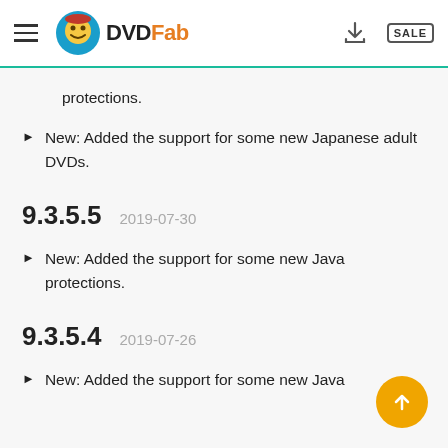DVDFab
protections.
New: Added the support for some new Japanese adult DVDs.
9.3.5.5  2019-07-30
New: Added the support for some new Java protections.
9.3.5.4  2019-07-26
New: Added the support for some new Java